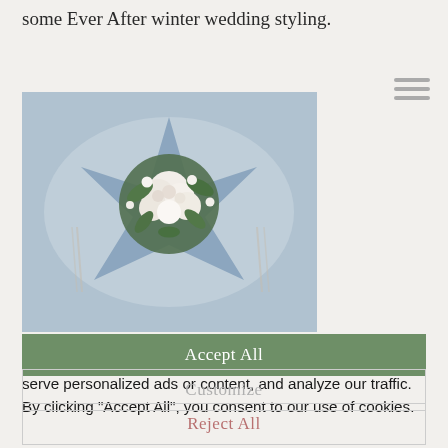some Ever After winter wedding styling.
[Figure (photo): Wedding table floral centerpiece with white roses and greenery on a blue-grey tablecloth, viewed from above]
We use cookies to enhance your browsing experience, serve personalized ads or content, and analyze our traffic. By clicking "Accept All", you consent to our use of cookies.
Accept All
Customize
Reject All